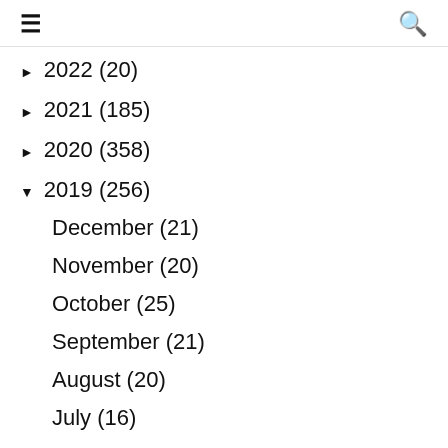≡  🔍
► 2022 (20)
► 2021 (185)
► 2020 (358)
▼ 2019 (256)
December (21)
November (20)
October (25)
September (21)
August (20)
July (16)